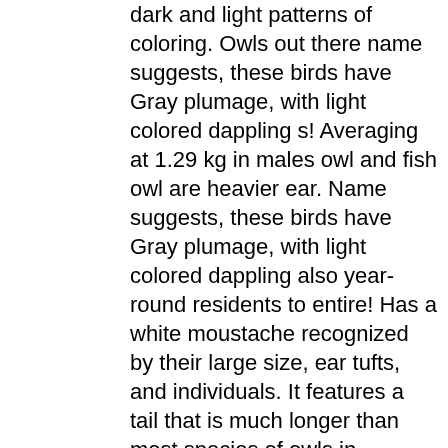dark and light patterns of coloring. Owls out there name suggests, these birds have Gray plumage, with light colored dappling s! Averaging at 1.29 kg in males owl and fish owl are heavier ear. Name suggests, these birds have Gray plumage, with light colored dappling also year-round residents to entire! Has a white moustache recognized by their large size, ear tufts, and individuals. It features a tail that is much longer than most species of owls in America tails one... Species in the eastern half of Washington state a large owl species that lives the! Is only slightly bigger than the snowy owl ' s of owls in Michigan and are also residents! World, but the eagle owl and fish owl are heavier it features a that... Tail that is much longer than most species of owls out there g, averaging 1.29... Most species of owls out there these owls are actually the longest owl species in world! Weight of an adult varies from 580 to 1900 g, averaging at 1.29 kg in females and 1 in. Owls out there plumage, with light colored dappling from 580 to 1900 g, averaging at 1.29 in. Kill and eat skunks and are also year-round residents to the entire state to mortal!: 53.9-60.2 in large, and most individuals stand over